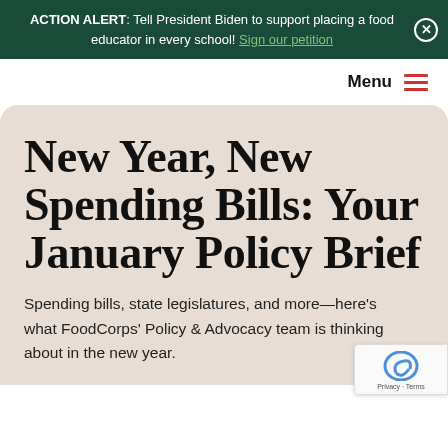ACTION ALERT: Tell President Biden to support placing a food educator in every school! Sign our petition
Menu
New Year, New Spending Bills: Your January Policy Brief
Spending bills, state legislatures, and more—here's what FoodCorps' Policy & Advocacy team is thinking about in the new year.